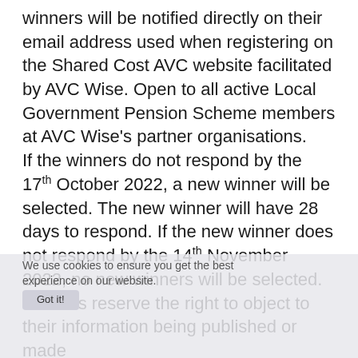winners will be notified directly on their email address used when registering on the Shared Cost AVC website facilitated by AVC Wise. Open to all active Local Government Pension Scheme members at AVC Wise's partner organisations.
If the winners do not respond by the 17th October 2022, a new winner will be selected. The new winner will have 28 days to respond. If the new winner does not respond by the 14th November 2022, no new winners will be selected. Winners reserve the right to object to their information being published or made